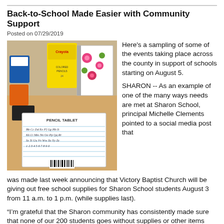Back-to-School Made Easier with Community Support
Posted on 07/29/2019
[Figure (photo): School supplies on a table including Crayola colored pencils box, a floral notebook, a pencil tablet with alphabet writing, and other school supply boxes]
Here's a sampling of some of the events taking place across the county in support of schools starting on August 5.
SHARON -- As an example of one of the many ways needs are met at Sharon School, principal Michelle Clements pointed to a social media post that was made last week announcing that Victory Baptist Church will be giving out free school supplies for Sharon School students August 3 from 11 a.m. to 1 p.m. (while supplies last).
“I’m grateful that the Sharon community has consistently made sure that none of our 200 students goes without supplies or other items each year,” she said. Such support is an example of the positivity that